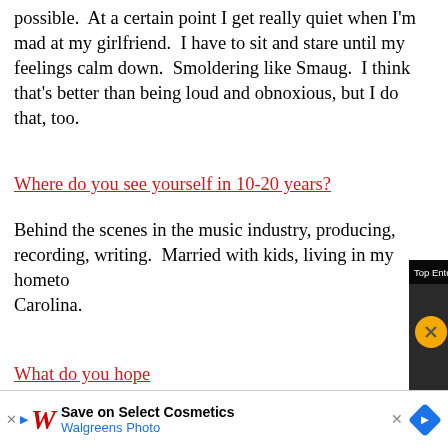possible.  At a certain point I get really quiet when I'm mad at my girlfriend.  I have to sit and stare until my feelings calm down.  Smoldering like Smaug.  I think that's better than being loud and obnoxious, but I do that, too.
Where do you see yourself in 10-20 years?
Behind the scenes in the music industry, producing, recording, writing.  Married with kids, living in my hometown in North Carolina.
What do you hope [people hear in your] music?
Not so much a mes[sage as an] terrible life.  My me[ssage is] how bad it can be [and be] you. Tho[ugh...]
[Figure (screenshot): Video popup overlay showing 'Top Entertainment: - Rolling Stone x VM...' with two people being interviewed on a red carpet, one in a red jacket and one in a light pink top holding a microphone. A yellow mute button is visible.]
[Figure (screenshot): Advertisement banner for Walgreens Photo: 'Save on Select Cosmetics' with Walgreens logo, blue arrow navigation, and a blue diamond-shaped map pin icon. Small X close button and triangular play/ad marker visible.]